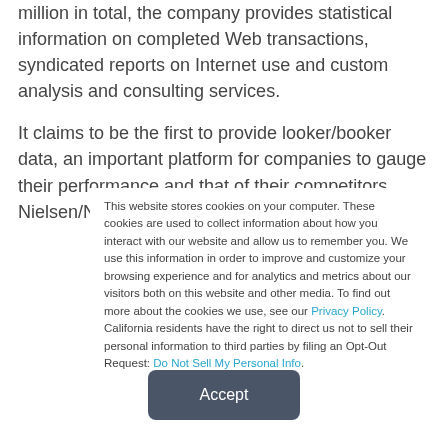million in total, the company provides statistical information on completed Web transactions, syndicated reports on Internet use and custom analysis and consulting services.
It claims to be the first to provide looker/booker data, an important platform for companies to gauge their performance and that of their competitors, Nielsen/NetRatings says.
This website stores cookies on your computer. These cookies are used to collect information about how you interact with our website and allow us to remember you. We use this information in order to improve and customize your browsing experience and for analytics and metrics about our visitors both on this website and other media. To find out more about the cookies we use, see our Privacy Policy. California residents have the right to direct us not to sell their personal information to third parties by filing an Opt-Out Request: Do Not Sell My Personal Info.
Accept